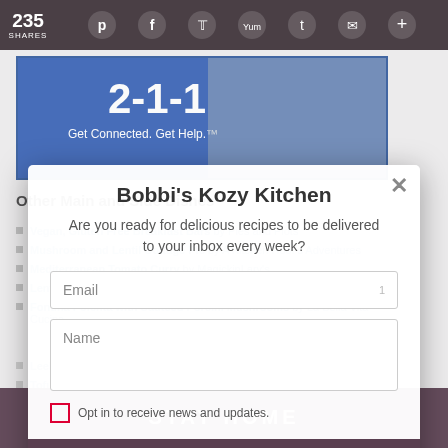[Figure (screenshot): Website screenshot of Bobbi's Kozy Kitchen food blog with social sharing toolbar at top showing 235 shares, an advertisement banner, a list of recipe links, and an email subscription modal overlay]
Other Main and Side Dishes
Vegan, Gluten Free Breakfast Bars by Pies and Plots
Mushroom and Lentil Cottage Pie by A Kitchen Hoor's Adventures
Mediterranean Tomato Curry by MagickinLary's
Lentil Stuffed Peppers by Recipes and Peppers
Fontina Polenta with Sauteed Porcini Mushrooms by La Bella Vita Cucina
Leek and Zucchini Tarte Tatin by Food Lust People Love
Tofu and Peas Curry (Tofu Matar) by Soni's Food
Bobbi's Kozy Kitchen
Are you ready for delicious recipes to be delivered to your inbox every week?
Email
Name
Opt in to receive news and updates.
LET'S DO THIS!